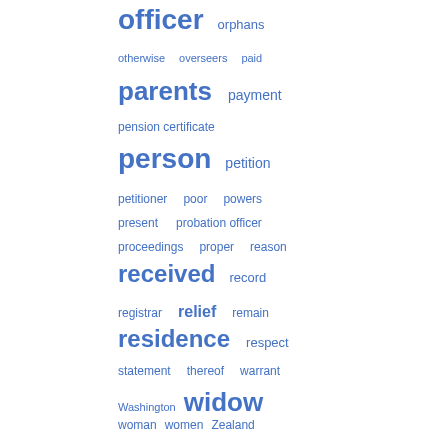[Figure (other): Word cloud showing terms related to government/legal topics in varying font sizes, all in blue. Larger words include officer, parents, person, received, residence, widow. Smaller words include orphans, otherwise, overseers, paid, payment, pension certificate, petition, petitioner, poor, powers, present, probation officer, proceedings, proper, reason, record, registrar, relief, remain, respect, statement, thereof, warrant, Washington, woman, women, Zealand.]
Bagian yang populer